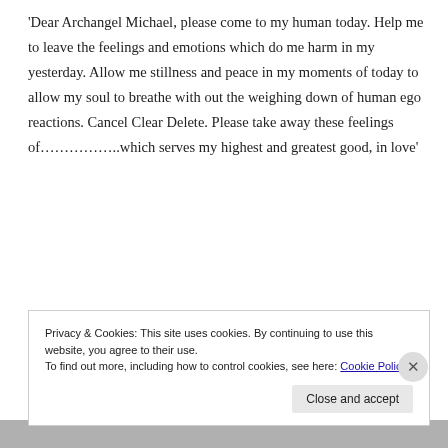'Dear Archangel Michael, please come to my human today. Help me to leave the feelings and emotions which do me harm in my yesterday. Allow me stillness and peace in my moments of today to allow my soul to breathe with out the weighing down of human ego reactions. Cancel Clear Delete. Please take away these feelings of……………..which serves my highest and greatest good, in love'
So be it.
Privacy & Cookies: This site uses cookies. By continuing to use this website, you agree to their use.
To find out more, including how to control cookies, see here: Cookie Policy
Close and accept